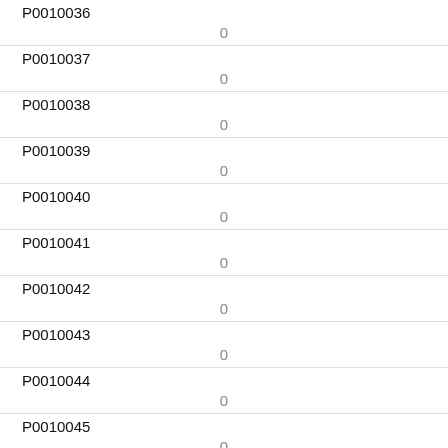| Code | Value |
| --- | --- |
| P0010036 | 0 |
| P0010037 | 0 |
| P0010038 | 0 |
| P0010039 | 0 |
| P0010040 | 0 |
| P0010041 | 0 |
| P0010042 | 0 |
| P0010043 | 0 |
| P0010044 | 0 |
| P0010045 | 0 |
| P0010046 |  |